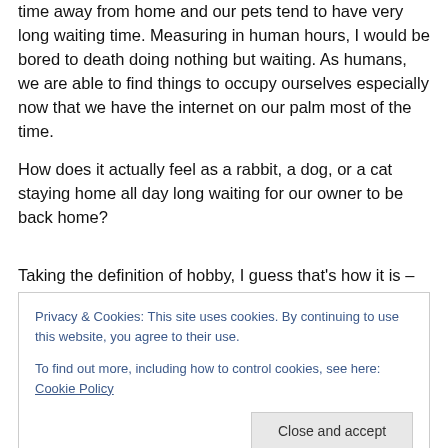time away from home and our pets tend to have very long waiting time. Measuring in human hours, I would be bored to death doing nothing but waiting. As humans, we are able to find things to occupy ourselves especially now that we have the internet on our palm most of the time.
How does it actually feel as a rabbit, a dog, or a cat staying home all day long waiting for our owner to be back home?
Taking the definition of hobby, I guess that's how it is – only in our free time. It seemed that we'll only have time
Privacy & Cookies: This site uses cookies. By continuing to use this website, you agree to their use.
To find out more, including how to control cookies, see here: Cookie Policy
Then again, we will never be able to feel and know if